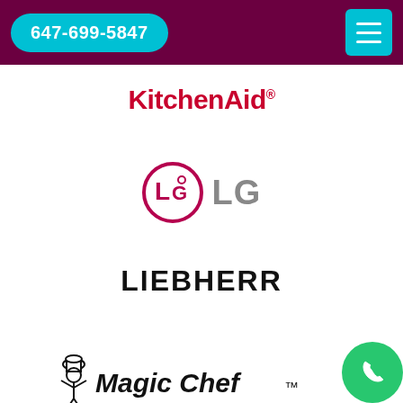647-699-5847
[Figure (logo): KitchenAid logo in red bold text with registered trademark symbol]
[Figure (logo): LG logo: pink circle with L and G letters inside, followed by grey LG text]
[Figure (logo): Liebherr logo in black bold uppercase letters]
[Figure (logo): Magic Chef logo with chef mascot illustration and italic bold text]